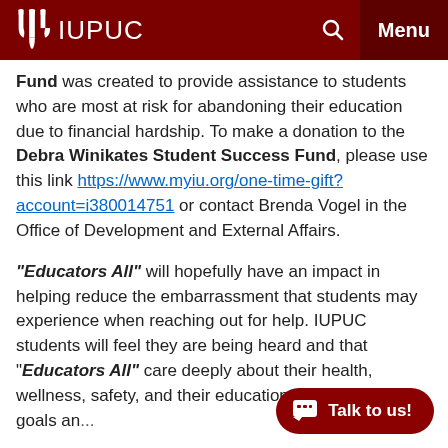IUPUC
Fund was created to provide assistance to students who are most at risk for abandoning their education due to financial hardship. To make a donation to the Debra Winikates Student Success Fund, please use this link https://www.myiu.org/one-time-gift?account=i380014751 or contact Brenda Vogel in the Office of Development and External Affairs.
“Educators All” will hopefully have an impact in helping reduce the embarrassment that students may experience when reaching out for help. IUPUC students will feel they are being heard and that “Educators All” care deeply about their health, wellness, safety, and their educational and career goals an...